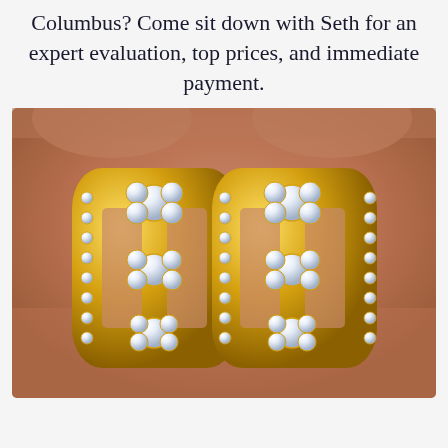Columbus? Come sit down with Seth for an expert evaluation, top prices, and immediate payment.
[Figure (photo): A pair of gold diamond earrings with flower cluster designs, held in a person's hand. The earrings feature yellow gold settings with multiple round brilliant diamond clusters arranged in a floral pattern, surrounded by pave diamond rows.]